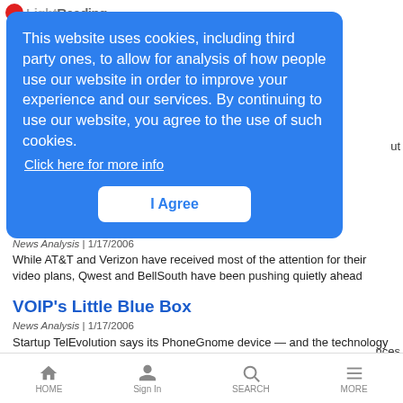LightReading
This website uses cookies, including third party ones, to allow for analysis of how people use our website in order to improve your experience and our services. By continuing to use our website, you agree to the use of such cookies.
Click here for more info
I Agree
News Analysis | 1/17/2006
While AT&T and Verizon have received most of the attention for their video plans, Qwest and BellSouth have been pushing quietly ahead
VOIP's Little Blue Box
News Analysis | 1/17/2006
Startup TelEvolution says its PhoneGnome device — and the technology
HOME  Sign In  SEARCH  MORE